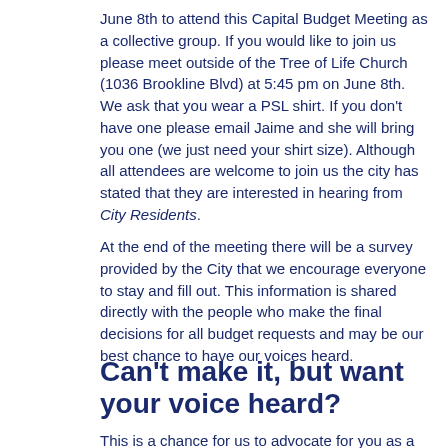June 8th to attend this Capital Budget Meeting as a collective group. If you would like to join us please meet outside of the Tree of Life Church (1036 Brookline Blvd) at 5:45 pm on June 8th. We ask that you wear a PSL shirt. If you don't have one please email Jaime and she will bring you one (we just need your shirt size). Although all attendees are welcome to join us the city has stated that they are interested in hearing from City Residents.
At the end of the meeting there will be a survey provided by the City that we encourage everyone to stay and fill out. This information is shared directly with the people who make the final decisions for all budget requests and may be our best chance to have our voices heard.
Can't make it, but want your voice heard?
This is a chance for us to advocate for you as a PSL participant